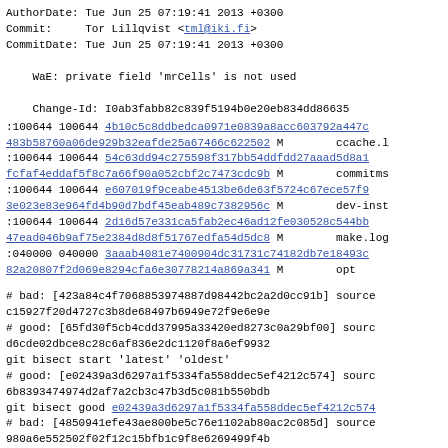AuthorDate: Tue Jun 25 07:19:41 2013 +0300
Commit:     Tor Lillqvist <tml@iki.fi>
CommitDate: Tue Jun 25 07:19:41 2013 +0300

    WaE: private field 'mrCells' is not used

    Change-Id: I0ab3fabb82c839f5194b0e20eb834dd86635
:100644 100644 4b10c5c8ddbedca0971e0839a8acc603792a447c 483b58760a06de929b32eafde25a67466c622502 M        ccache.l
:100644 100644 54c63dd94c275598f317bb54ddfdd27aaad5d8a1 fcfaf4eddaf5f8c7a66f90a052cbf2c7473cdc9b M        commitms
:100644 100644 e607019f9ceabe4513be6de63f5724c67ece57f9 3e023e83e964fd4b90d7bdf45eab489c7382956c M        dev-inst
:100644 100644 2d16d57e331ca5fab2ec46ad12fe030528c544bb 47ead046b9af75e2384d8d8f51767edfa54d5dc8 M        make.log
:040000 040000 3aaab4081e7400904dc31731c74182db7e18493c 82a20807f2d069e8294cfa6e30778214a869a341 M        opt
# bad: [423a84c4f7068853974887d98442bc2a2d0cc91b] source c15927f20d4727c3b8de68497b6949e72f9e6e9e
# good: [65fd30f5cb4cdd37995a33420ed8273c0a29bf00] sourc d6cde02dbce8c28c6af836e2dc1120f8a6ef9932
git bisect start 'latest' 'oldest'
# good: [e02439a3d6297a1f5334fa558ddec5ef4212c574] sourc 6b8393474974d2af7a2cb3c47b3d5c081b550bdb
git bisect good e02439a3d6297a1f5334fa558ddec5ef4212c574
# bad: [4850941efe43ae800be5c76e1102ab80ac2c085d] source 980a6e552502f02f12c15bfb1c9f8e6269499f4b